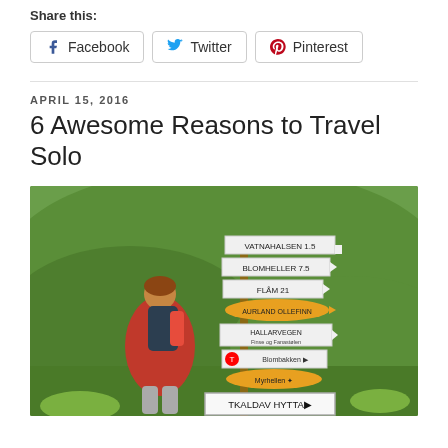Share this:
Facebook
Twitter
Pinterest
APRIL 15, 2016
6 Awesome Reasons to Travel Solo
[Figure (photo): A woman with a red jacket and backpack standing in front of a trail signpost in a green mountainous landscape. Signs include VATNAHALSEN 1.5, BLOMHELLER 7.5, FLÅM 21, and others including TKALDAV HYTTA.]